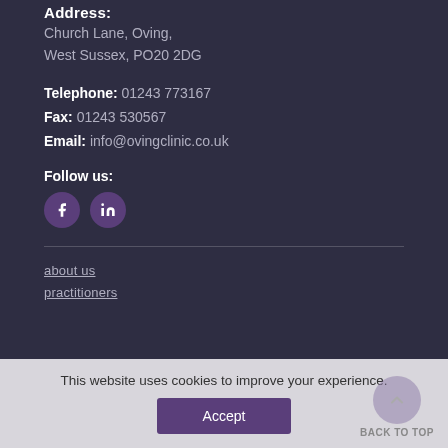Address:
Church Lane, Oving,
West Sussex, PO20 2DG
Telephone: 01243 773167
Fax: 01243 530567
Email: info@ovingclinic.co.uk
Follow us:
[Figure (illustration): Facebook and LinkedIn social media icon circles]
about us
practitioners
This website uses cookies to improve your experience.